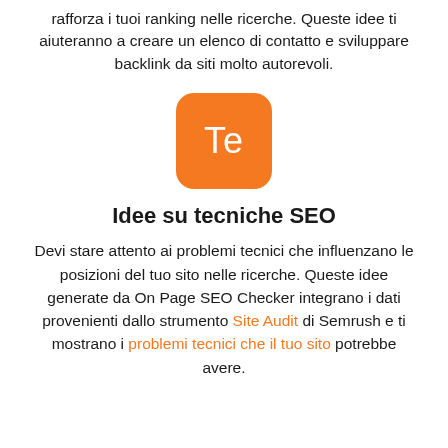rafforza i tuoi ranking nelle ricerche. Queste idee ti aiuteranno a creare un elenco di contatto e sviluppare backlink da siti molto autorevoli.
[Figure (logo): Orange rounded square icon with white letters 'Te']
Idee su tecniche SEO
Devi stare attento ai problemi tecnici che influenzano le posizioni del tuo sito nelle ricerche. Queste idee generate da On Page SEO Checker integrano i dati provenienti dallo strumento Site Audit di Semrush e ti mostrano i problemi tecnici che il tuo sito potrebbe avere.